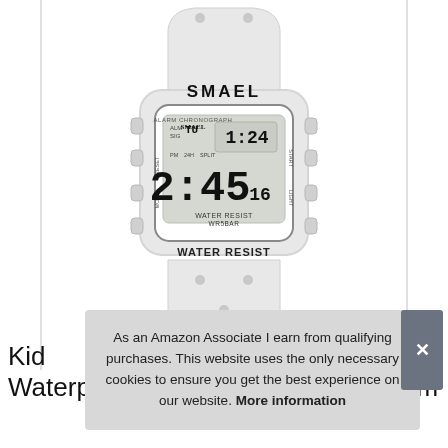[Figure (photo): A white SMAEL digital watch with square face. The display shows ALARM CHRONOGRAPH SMAEL text, time 2:45, and 1:24 on sub-display, WATER RESIST WR5BAR text on the face. The case and strap are white rubber. The case reads WATER RESIST on the lower bezel.]
As an Amazon Associate I earn from qualifying purchases. This website uses the only necessary cookies to ensure you get the best experience on our website. More information
Kid
Waterproof Electronic Watches Alarm